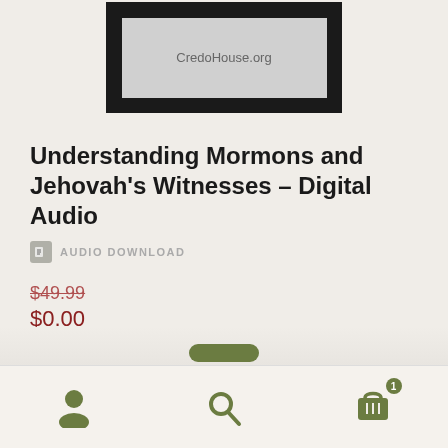[Figure (screenshot): Product image placeholder showing CredoHouse.org text in a gray rectangle with dark border frame]
Understanding Mormons and Jehovah's Witnesses – Digital Audio
AUDIO DOWNLOAD
$49.99
$0.00
Add to cart
[Figure (infographic): Bottom navigation bar with person/account icon, search icon, and shopping cart icon with badge showing 1]